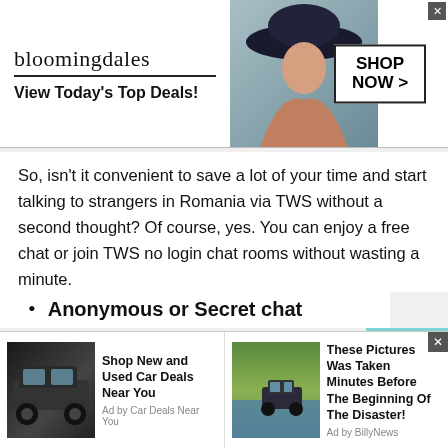[Figure (screenshot): Bloomingdale's banner advertisement: logo with 'bloomingdales' text, tagline 'View Today's Top Deals!', model photo, and 'SHOP NOW >' button with close X]
So, isn't it convenient to save a lot of your time and start talking to strangers in Romania via TWS without a second thought? Of course, yes. You can enjoy a free chat or join TWS no login chat rooms without wasting a minute.
Anonymous or Secret chat
Talking to strangers in Romania is completely anonymous. TWS is a platform where you can pretend to be whoever you are. Without revealing
[Figure (screenshot): Bottom advertisement bar with two ad units: 'Shop New and Used Car Deals Near You' (Ad by Car Deals Near You) and 'These Pictures Was Taken Minutes Before The Beginning Of The Disaster!' (Ad by BillyNews)]